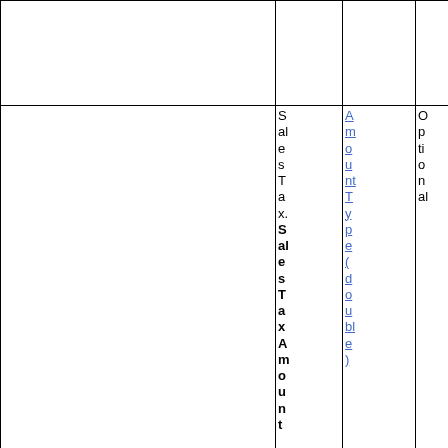|  | SalesTax.SalesTaxAmount | AmountType(double) | Optional |
| --- | --- | --- | --- |
|  |  |  |  |